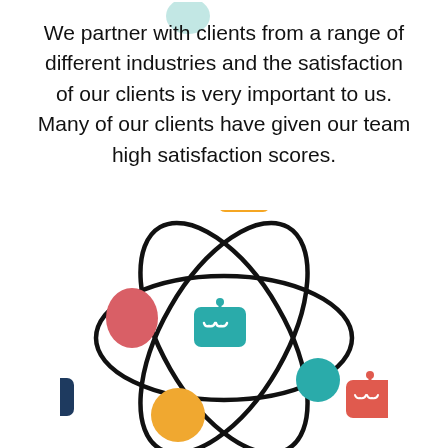We partner with clients from a range of different industries and the satisfaction of our clients is very important to us. Many of our clients have given our team high satisfaction scores.
[Figure (illustration): An atom-like diagram with three overlapping elliptical orbits drawn in thick black lines, with colored blobs (red, orange/yellow, teal circle) at orbit intersections, and four small robot/character icons (orange at top, teal in center, navy at bottom-left, red-orange at bottom-right) placed around the diagram. A small teal circle decoration appears in the top-left corner.]